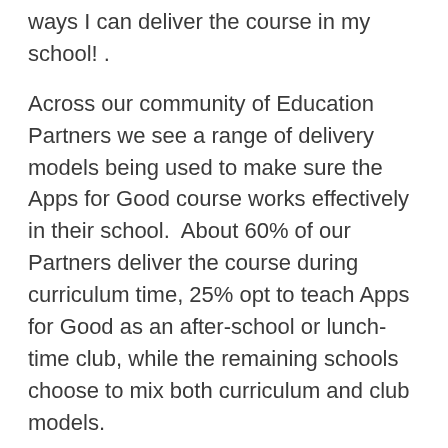ways I can deliver the course in my school! .
Across our community of Education Partners we see a range of delivery models being used to make sure the Apps for Good course works effectively in their school.  About 60% of our Partners deliver the course during curriculum time, 25% opt to teach Apps for Good as an after-school or lunch-time club, while the remaining schools choose to mix both curriculum and club models.
Today we're sharing some of our Educators' experiences to help you identify the best approach for your school. First up we have Joe